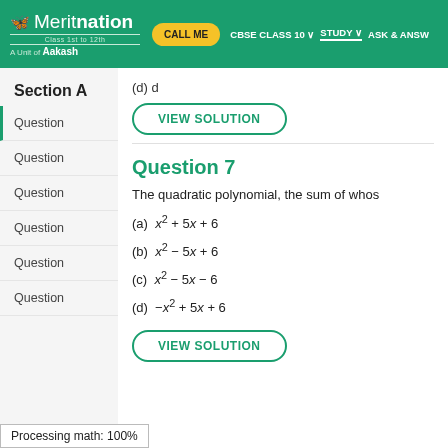[Figure (screenshot): Meritnation website header with logo, CALL ME button, and navigation items (CBSE CLASS 10, STUDY, ASK & ANSW...)]
Section A
Question (active)
Question
Question
Question
Question
Question
(d) d
VIEW SOLUTION
Question 7
The quadratic polynomial, the sum of whos
(a) x² + 5x + 6
(b) x² − 5x + 6
(c) x² − 5x − 6
(d) −x² + 5x + 6
VIEW SOLUTION
Processing math: 100%